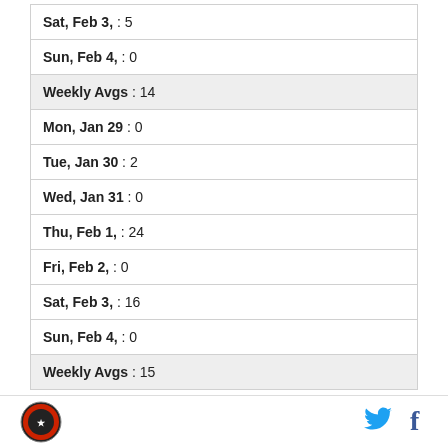| Sat, Feb 3, : 5 |
| Sun, Feb 4, : 0 |
| Weekly Avgs : 14 |
| Mon, Jan 29 : 0 |
| Tue, Jan 30 : 2 |
| Wed, Jan 31 : 0 |
| Thu, Feb 1, : 24 |
| Fri, Feb 2, : 0 |
| Sat, Feb 3, : 16 |
| Sun, Feb 4, : 0 |
| Weekly Avgs : 15 |
[Figure (logo): Round logo with red and dark design]
[Figure (logo): Twitter bird icon in cyan blue]
[Figure (logo): Facebook f icon in dark blue]